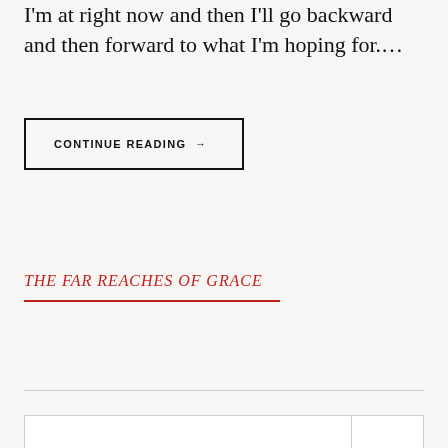I'm at right now and then I'll go backward and then forward to what I'm hoping for....
CONTINUE READING →
THE FAR REACHES OF GRACE
|  |  |